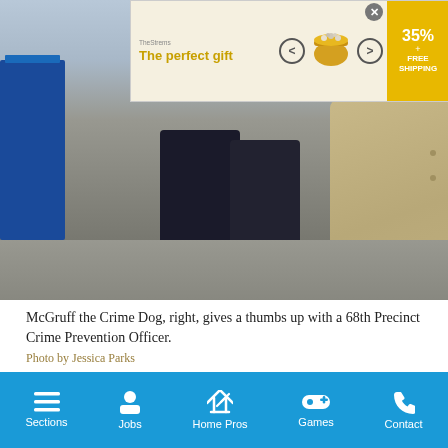[Figure (photo): Advertisement banner for 'The perfect gift' showing a yellow pot and navigation arrows, with 35% off and FREE SHIPPING badge]
[Figure (photo): Outdoor photo of McGruff the Crime Dog in a trench coat giving a thumbs up with a 68th Precinct Crime Prevention Officer]
McGruff the Crime Dog, right, gives a thumbs up with a 68th Precinct Crime Prevention Officer.
Photo by Jessica Parks
A large showing of young people were with Bravo Volunteer Ambulance Service, as well as the NYPD’s Law Enforcement Explorers — two programs, one young resident of the neighborhood said, are helpful in getting involved with the community while also figuring out career options
Sections  Jobs  Home Pros  Games  Contact